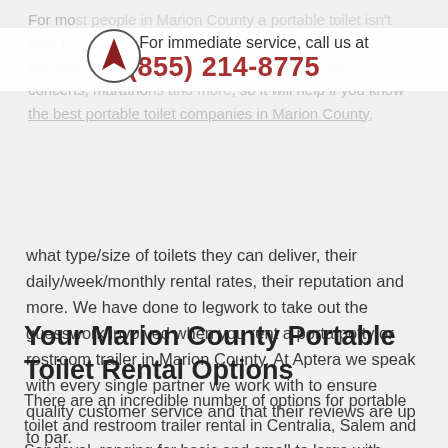[Figure (logo): Aptera logo: circular border with arrow/navigation icon inside]
For immediate service, call us at
(855) 214-8775
For most people in Marion County a portable toilet isn't their first For immediate service, call us at (855) 214-8775 m. But they are a necessity during outdoor festivals, concerts, marathons and more, so it will help if you know the best portable toilet companies in Marion County, what type/size of toilets they can deliver, their daily/week/monthly rental rates, their reputation and more. We have done to legwork to take out the guesswork involved when you rent a porta potty or restroom trailer in Marion County. At Aptera we speak with every single partner we work with to ensure quality customer service and that their reviews are up to par.
Your Marion County Portable Toilet Rental Options
There are an incredible number of options for portable toilet and restroom trailer rental in Centralia, Salem and Sandoval, ranging for basic and small to large with various amenities. Choose from the following options: